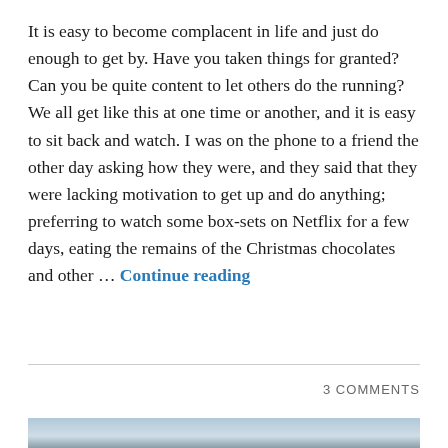It is easy to become complacent in life and just do enough to get by. Have you taken things for granted? Can you be quite content to let others do the running? We all get like this at one time or another, and it is easy to sit back and watch. I was on the phone to a friend the other day asking how they were, and they said that they were lacking motivation to get up and do anything; preferring to watch some box-sets on Netflix for a few days, eating the remains of the Christmas chocolates and other … Continue reading
3 COMMENTS
[Figure (photo): Partial sky/horizon photograph at the bottom of the page]